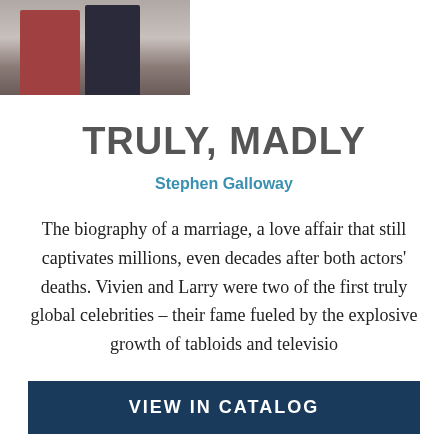[Figure (photo): A partially visible photograph of two people standing together, one in a dark outfit and one in a reddish outfit, cropped at the top of the page.]
TRULY, MADLY
Stephen Galloway
The biography of a marriage, a love affair that still captivates millions, even decades after both actors' deaths. Vivien and Larry were two of the first truly global celebrities – their fame fueled by the explosive growth of tabloids and televisio
Read More
VIEW IN CATALOG